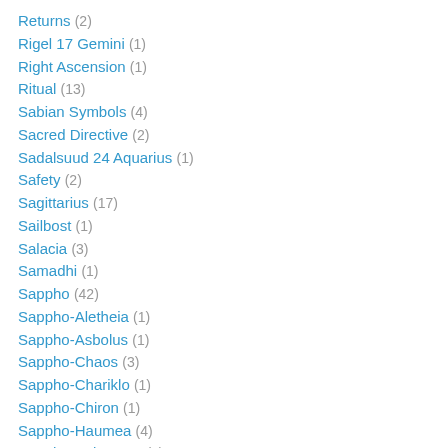Returns (2)
Rigel 17 Gemini (1)
Right Ascension (1)
Ritual (13)
Sabian Symbols (4)
Sacred Directive (2)
Sadalsuud 24 Aquarius (1)
Safety (2)
Sagittarius (17)
Sailbost (1)
Salacia (3)
Samadhi (1)
Sappho (42)
Sappho-Aletheia (1)
Sappho-Asbolus (1)
Sappho-Chaos (3)
Sappho-Chariklo (1)
Sappho-Chiron (1)
Sappho-Haumea (4)
Sappho-Hylonome (1)